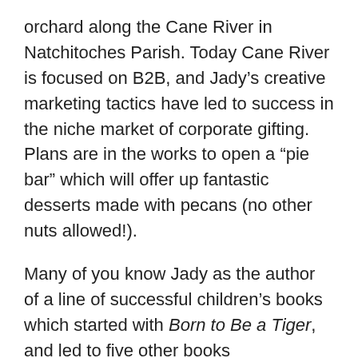orchard along the Cane River in Natchitoches Parish. Today Cane River is focused on B2B, and Jady's creative marketing tactics have led to success in the niche market of corporate gifting. Plans are in the works to open a “pie bar” which will offer up fantastic desserts made with pecans (no other nuts allowed!).
Many of you know Jady as the author of a line of successful children’s books which started with Born to Be a Tiger, and led to five other books commemorating family love of great football traditions. Jady shared that writing books has been one of the most rewarding things he’s done in life.
Other interests in Jady’s life have led to him to follow his creative bent. As a child, his father would take him to Le Petit Soldier Shop in New Orleans, which was the second oldest toy store of its kind in the U. S. As an adult, he retained his fascination with toy soldiers; while working for the Bears, he